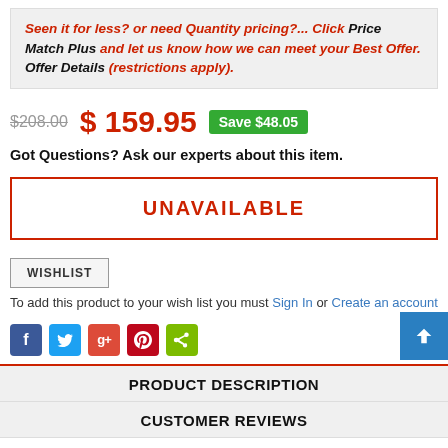Seen it for less? or need Quantity pricing?... Click Price Match Plus and let us know how we can meet your Best Offer. Offer Details (restrictions apply).
$208.00  $159.95  Save $48.05
Got Questions? Ask our experts about this item.
UNAVAILABLE
WISHLIST
To add this product to your wish list you must Sign In or Create an account
[Figure (infographic): Social sharing icons: Facebook (blue), Twitter (light blue), Google+ (red), Pinterest (dark red), ShareThis (green)]
PRODUCT DESCRIPTION
CUSTOMER REVIEWS